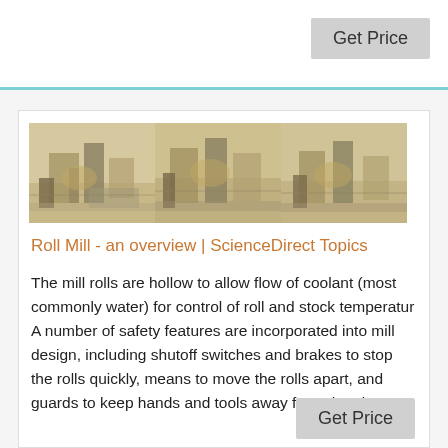[Figure (photo): Three side-by-side photos of industrial roll mill machinery in a factory setting]
Roll Mill - an overview | ScienceDirect Topics
The mill rolls are hollow to allow flow of coolant (most commonly water) for control of roll and stock temperatur A number of safety features are incorporated into mill design, including shutoff switches and brakes to stop the rolls quickly, means to move the rolls apart, and guards to keep hands and tools away from the nip area